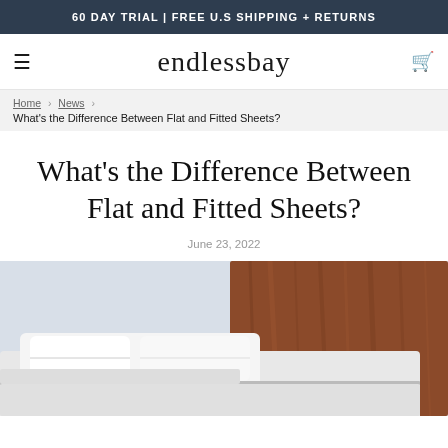60 DAY TRIAL | FREE U.S SHIPPING + RETURNS
endlessbay
Home › News › What's the Difference Between Flat and Fitted Sheets?
What's the Difference Between Flat and Fitted Sheets?
June 23, 2022
[Figure (photo): Photo of a bed with white sheets and pillows against a wooden headboard, on a light gray background]